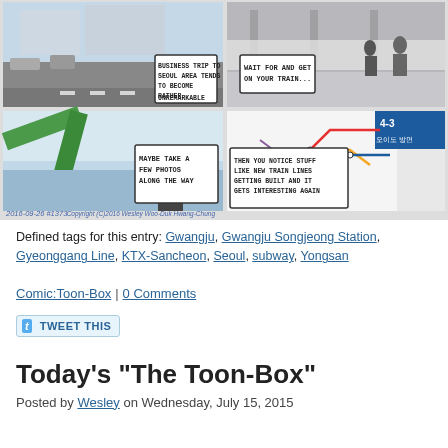[Figure (illustration): Comic strip with 4 panels showing scenes from a business trip to Seoul area. Panel 1: Street/airport scene with caption 'BUSINESS TRIP TO SEOUL AREA TENDS TO BECOME RATHER UNREMARKABLE'. Panel 2: Train platform with people waiting, caption 'WAIT FOR AND GET ON YOUR TRAIN...'. Panel 3: Person photographing a river/bridge scene, caption 'MAYBE TAKE A FEW PHOTOS ALONG THE WAY'. Panel 4: Seoul subway map showing new train lines, caption 'THEN YOU NOTICE STUFF LIKE NEW TRAIN LINES GETTING BUILT AND IT GETS INTERESTING AGAIN'. Bottom left: '2016-09-26 #1373'. Bottom right: 'Copyright (C)2016 Wesley Woo-Duk Hwang-Chung'.]
Defined tags for this entry: Gwangju, Gwangju Songjeong Station, Gyeonggang Line, KTX-Sancheon, Seoul, subway, Yongsan
Comic:Toon-Box | 0 Comments
[Figure (other): Tweet This button with Twitter bird icon]
Today's "The Toon-Box"
Posted by Wesley on Wednesday, July 15, 2015